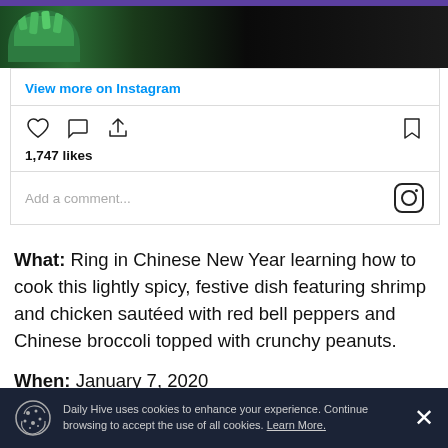[Figure (photo): Top portion of a food photo showing a bowl with green onions/scallions and dark cooking pan, cropped at top]
View more on Instagram
1,747 likes
Add a comment...
What: Ring in Chinese New Year learning how to cook this lightly spicy, festive dish featuring shrimp and chicken sautéed with red bell peppers and Chinese broccoli topped with crunchy peanuts.
When: January 7, 2020
Daily Hive uses cookies to enhance your experience. Continue browsing to accept the use of all cookies. Learn More.